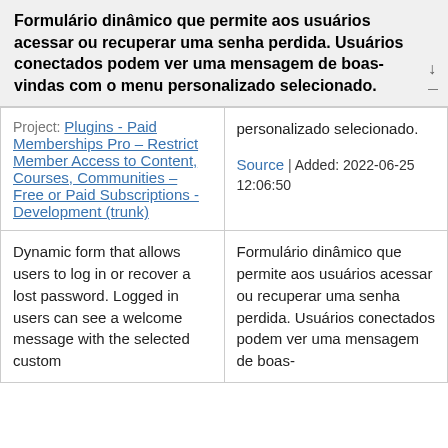Formulário dinâmico que permite aos usuários acessar ou recuperar uma senha perdida. Usuários conectados podem ver uma mensagem de boas-vindas com o menu personalizado selecionado.
| Project | Details |
| --- | --- |
| Project: Plugins - Paid Memberships Pro – Restrict Member Access to Content, Courses, Communities – Free or Paid Subscriptions - Development (trunk) | personalizado selecionado.

Source | Added: 2022-06-25 12:06:50 |
| Dynamic form that allows users to log in or recover a lost password. Logged in users can see a welcome message with the selected custom | Formulário dinâmico que permite aos usuários acessar ou recuperar uma senha perdida. Usuários conectados podem ver uma mensagem de boas- |